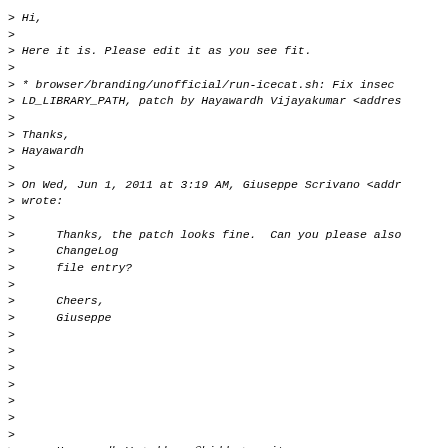> Hi,
>
> Here it is. Please edit it as you see fit.
>
> * browser/branding/unofficial/run-icecat.sh: Fix insec
> LD_LIBRARY_PATH, patch by Hayawardh Vijayakumar <addres
>
> Thanks,
> Hayawardh
>
> On Wed, Jun 1, 2011 at 3:19 AM, Giuseppe Scrivano <addr
> wrote:
>
>      Thanks, the patch looks fine.  Can you please also
>      ChangeLog
>      file entry?
>
>      Cheers,
>      Giuseppe
>
>
>
>
>
>
>
>      Hayawardh V <address@hidden> writes:
>
>      > Hi,
>      >